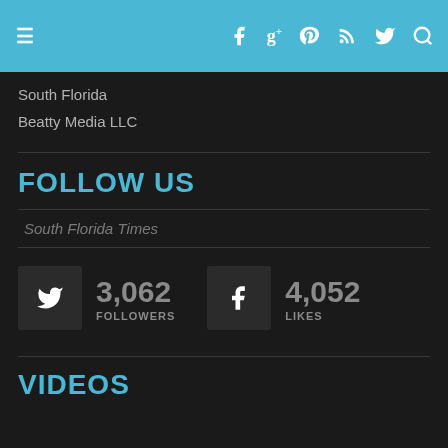≡  f  g+  p  RSS  Twitter  Search
South Florida
Beatty Media LLC
FOLLOW US
South Florida Times
[Figure (infographic): Twitter followers count: 3,062 FOLLOWERS and Facebook likes count: 4,052 LIKES]
VIDEOS